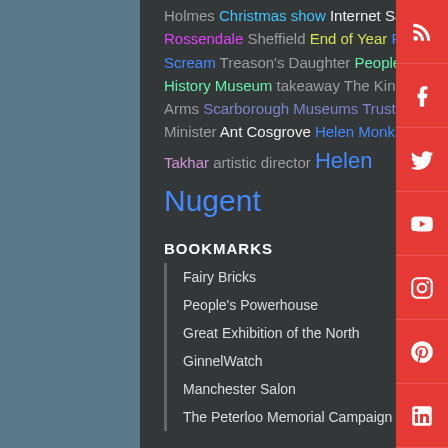Holmes Christmas show Internet Safety Rossendale Sheffield End of Year Primal Scream Treason's Daughter People's History Museum takeaway The Kings Arms Scarborough Museums Trust Prime Minister Ant Cosgrove Helen Monks Takhar artistic director Helen Nugent
BOOKMARKS
Fairy Bricks
People's Powerhouse
Great Exhibition of the North
GinnelWatch
Manchester Salon
The Peterloo Memorial Campaign